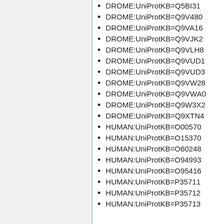DROME:UniProtKB=Q5BI31
DROME:UniProtKB=Q9V480
DROME:UniProtKB=Q9VA16
DROME:UniProtKB=Q9VJK2
DROME:UniProtKB=Q9VLH8
DROME:UniProtKB=Q9VUD1
DROME:UniProtKB=Q9VUD3
DROME:UniProtKB=Q9VW28
DROME:UniProtKB=Q9VWA0
DROME:UniProtKB=Q9W3X2
DROME:UniProtKB=Q9XTN4
HUMAN:UniProtKB=O00570
HUMAN:UniProtKB=O15370
HUMAN:UniProtKB=O60248
HUMAN:UniProtKB=O94993
HUMAN:UniProtKB=O95416
HUMAN:UniProtKB=P35711
HUMAN:UniProtKB=P35712
HUMAN:UniProtKB=P35713